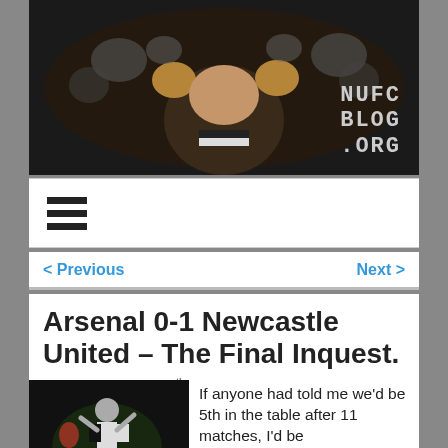[Figure (photo): NUFC Blog header banner showing a Newcastle United fan celebrating passionately in black and white kit, with NUFC BLOG .ORG logo in top right corner]
[Figure (other): Hamburger/menu icon with three horizontal bars]
< Previous    Next >
Arsenal 0-1 Newcastle United – The Final Inquest.
Posted on November 9th, 2010 | 136 Comments |
[Figure (other): Social media sharing icons: Facebook, Twitter, Email, Pinterest, and a plus/more button]
[Figure (photo): Newcastle United player celebrating on the pitch in black and white striped kit]
If anyone had told me we'd be 5th in the table after 11 matches, I'd be